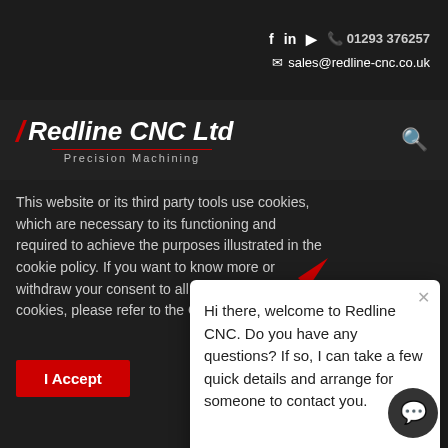f  in  ▶  01293 376257  |  sales@redline-cnc.co.uk
[Figure (logo): Redline CNC Ltd logo with red slash, italic white text and 'Precision Machining' subtitle, plus search icon]
This website or its third party tools use cookies, which are necessary to its functioning and required to achieve the purposes illustrated in the cookie policy. If you want to know more or withdraw your consent to all or some of the cookies, please refer to the Cookie Policy
Hi there, welcome to Redline CNC. Do you have any questions? If so, I can take a few quick details and arrange for someone to contact you.
I Accept